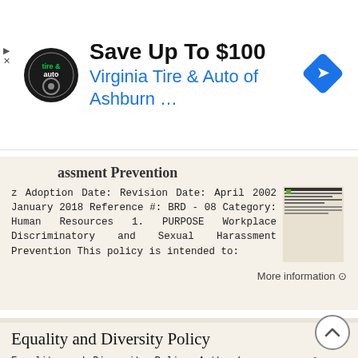[Figure (other): Advertisement banner: Virginia Tire & Auto of Ashburn, Save Up To $100, with logo and navigation diamond icon]
assment Prevention
z Adoption Date: Revision Date: April 2002 January 2018 Reference #: BRD - 08 Category: Human Resources 1. PURPOSE Workplace Discriminatory and Sexual Harassment Prevention This policy is intended to:
More information →
Equality and Diversity Policy
Equality and Diversity Policy Author/owner: Principals/Directors Date adopted: Summer 2016 Anticipated review: Summer 2019 Contents 1. Introduction… 3 2. Scope and purpose… 3 3. Roles and responsibilities…